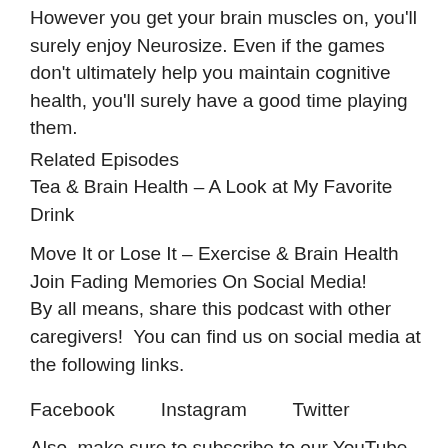However you get your brain muscles on, you'll surely enjoy Neurosize. Even if the games don't ultimately help you maintain cognitive health, you'll surely have a good time playing them.
Related Episodes
Tea & Brain Health – A Look at My Favorite Drink
Move It or Lose It – Exercise & Brain Health
Join Fading Memories On Social Media!
By all means, share this podcast with other caregivers!  You can find us on social media at the following links.
Facebook    Instagram    Twitter
Also, make sure to subscribe to our YouTube channel. There you can see me in “action”